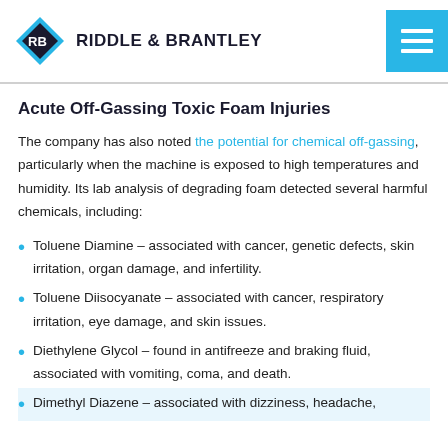RIDDLE & BRANTLEY
Acute Off-Gassing Toxic Foam Injuries
The company has also noted the potential for chemical off-gassing, particularly when the machine is exposed to high temperatures and humidity. Its lab analysis of degrading foam detected several harmful chemicals, including:
Toluene Diamine – associated with cancer, genetic defects, skin irritation, organ damage, and infertility.
Toluene Diisocyanate – associated with cancer, respiratory irritation, eye damage, and skin issues.
Diethylene Glycol – found in antifreeze and braking fluid, associated with vomiting, coma, and death.
Dimethyl Diazene – associated with dizziness, headache,